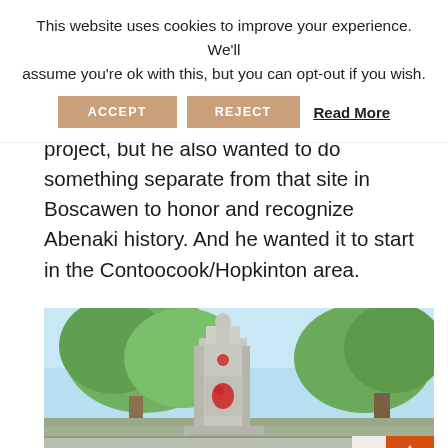This website uses cookies to improve your experience. We'll assume you're ok with this, but you can opt-out if you wish.
ACCEPT   REJECT   Read More
project, but he also wanted to do something separate from that site in Boscawen to honor and recognize Abenaki history. And he wanted it to start in the Contoocook/Hopkinton area.
[Figure (photo): Photo of a stone monument or obelisk with red paint markings, surrounded by green leafy trees and a blue sky. The bottom portion of the image is partially faded/transparent showing a continuation of the scene.]